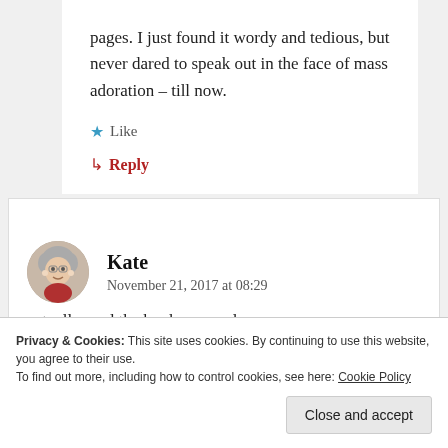pages. I just found it wordy and tedious, but never dared to speak out in the face of mass adoration – till now.
★ Like
↳ Reply
Kate
November 21, 2017 at 08:29
actually read the books properly.
Privacy & Cookies: This site uses cookies. By continuing to use this website, you agree to their use.
To find out more, including how to control cookies, see here: Cookie Policy
Close and accept